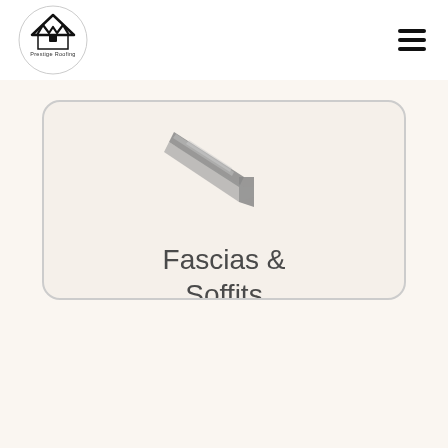Prestige Roofing
[Figure (illustration): Fascias and soffits product card with a stylized grey roofline/fascia graphic and the text 'Fascias & Soffits']